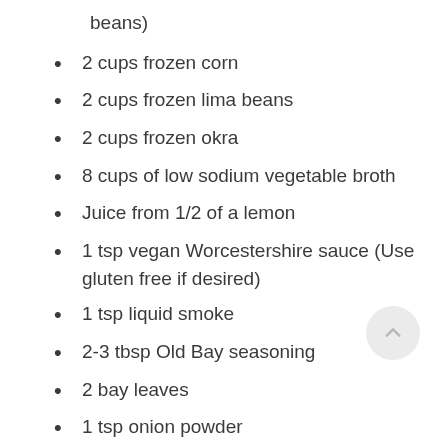beans)
2 cups frozen corn
2 cups frozen lima beans
2 cups frozen okra
8 cups of low sodium vegetable broth
Juice from 1/2 of a lemon
1 tsp vegan Worcestershire sauce (Use gluten free if desired)
1 tsp liquid smoke
2-3 tbsp Old Bay seasoning
2 bay leaves
1 tsp onion powder
1 tsp garlic powder
1 tsp dried mustard